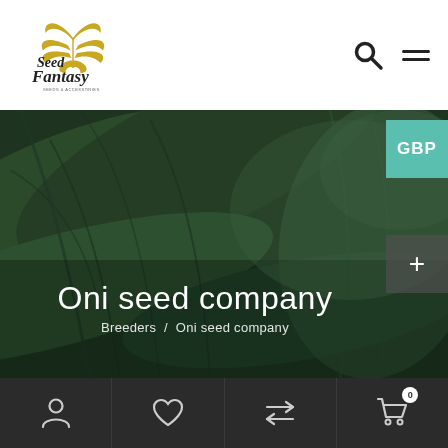[Figure (logo): Seed Fantasy logo with cannabis leaf graphic in gold/green and cursive script text]
[Figure (photo): Dark green cannabis leaf macro photo used as hero banner background]
Oni seed company
Breeders / Oni seed company
[Figure (other): GBP currency selector button (teal/green)]
[Figure (other): Plus button for accessibility or zoom control (dark semi-transparent)]
[Figure (other): Bottom navigation bar with person, heart, repeat, and cart icons on dark background]